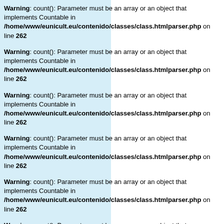Warning: count(): Parameter must be an array or an object that implements Countable in /home/www/eunicult.eu/contenido/classes/class.htmlparser.php on line 262
Warning: count(): Parameter must be an array or an object that implements Countable in /home/www/eunicult.eu/contenido/classes/class.htmlparser.php on line 262
Warning: count(): Parameter must be an array or an object that implements Countable in /home/www/eunicult.eu/contenido/classes/class.htmlparser.php on line 262
Warning: count(): Parameter must be an array or an object that implements Countable in /home/www/eunicult.eu/contenido/classes/class.htmlparser.php on line 262
Warning: count(): Parameter must be an array or an object that implements Countable in /home/www/eunicult.eu/contenido/classes/class.htmlparser.php on line 262
Warning: count(): Parameter must be an array or an object that implements Countable in /home/www/eunicult.eu/contenido/classes/class.htmlparser.php on line 262
Warning: count(): Parameter must be an array or an object that implements Countable in /home/www/eunicult.eu/contenido/classes/class.htmlparser.php on line 262